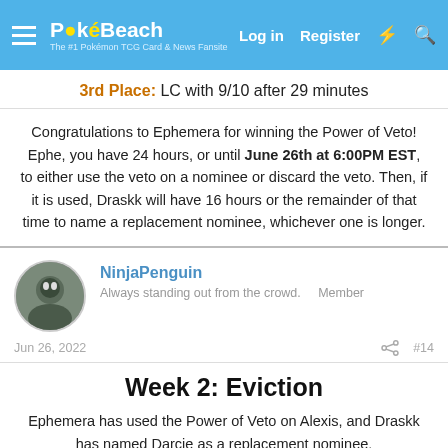PokéBeach — Log in  Register
3rd Place: LC with 9/10 after 29 minutes
Congratulations to Ephemera for winning the Power of Veto! Ephe, you have 24 hours, or until June 26th at 6:00PM EST, to either use the veto on a nominee or discard the veto. Then, if it is used, Draskk will have 16 hours or the remainder of that time to name a replacement nominee, whichever one is longer.
NinjaPenguin
Always standing out from the crowd.    Member
Jun 26, 2022    #14
Week 2: Eviction
Ephemera has used the Power of Veto on Alexis, and Draskk has named Darcie as a replacement nominee.
Anna and Darcie are the final nominees for the week.